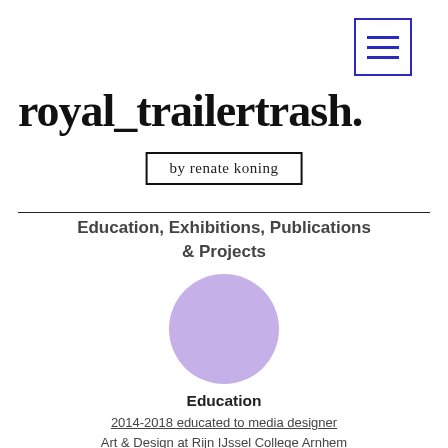[Figure (other): Hamburger menu icon — three horizontal blue lines inside a blue-outlined square]
royal_trailertrash.
by renate koning
Education, Exhibitions, Publications & Projects
[Figure (illustration): A light purple filled circle]
Education
2014-2018 educated to media designer
Art & Design at Rijn IJssel College Arnhem
2009 photography course
Volksuniversiteit Arnhem